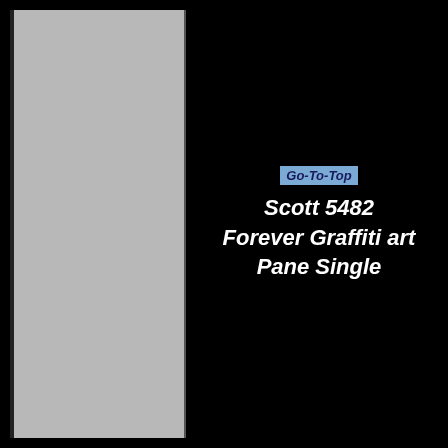[Figure (illustration): Left panel: large light gray rectangle on black background, with black border on the left side. Right panel: black background with centered text content.]
Go-To-Top
Scott 5482
Forever Graffiti art
Pane Single